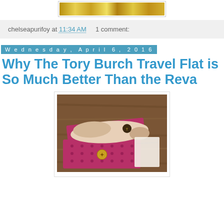[Figure (photo): Partial glitter/gold banner image at top of page, cropped]
chelseapurifoy at 11:34 AM   1 comment:
Wednesday, April 6, 2016
Why The Tory Burch Travel Flat is So Much Better Than the Reva
[Figure (photo): Tory Burch ballet flat shoes in an open pink/magenta Tory Burch branded shoe box on a wooden floor]